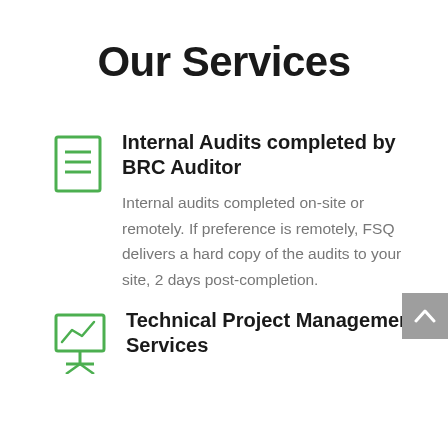Our Services
Internal Audits completed by BRC Auditor
Internal audits completed on-site or remotely. If preference is remotely, FSQ delivers a hard copy of the audits to your site, 2 days post-completion.
Technical Project Management Services